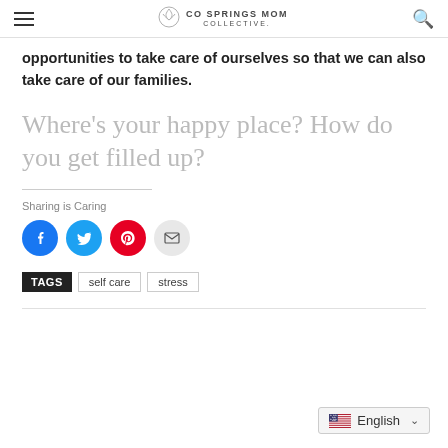CO SPRINGS MOM COLLECTIVE.
opportunities to take care of ourselves so that we can also take care of our families.
Where's your happy place? How do you get filled up?
Sharing is Caring
[Figure (infographic): Four social share buttons: Facebook (blue), Twitter (cyan), Pinterest (red), Email (grey)]
TAGS   self care   stress
English